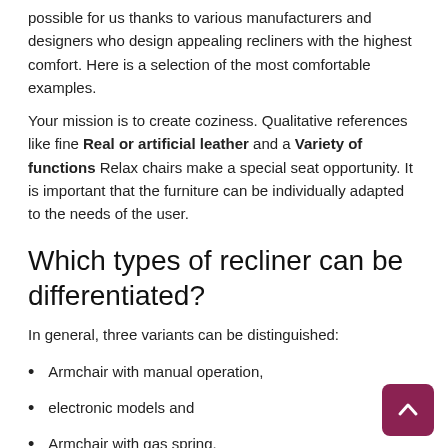possible for us thanks to various manufacturers and designers who design appealing recliners with the highest comfort. Here is a selection of the most comfortable examples.
Your mission is to create coziness. Qualitative references like fine Real or artificial leather and a Variety of functions Relax chairs make a special seat opportunity. It is important that the furniture can be individually adapted to the needs of the user.
Which types of recliner can be differentiated?
In general, three variants can be distinguished:
Armchair with manual operation,
electronic models and
Armchair with gas spring.
Armchairs with a tilt function and a height-adjustable stool, for example, are popular on all sides recliner, In addition to the use as